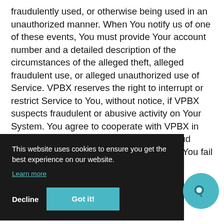fraudulently used, or otherwise being used in an unauthorized manner. When You notify us of one of these events, You must provide Your account number and a detailed description of the circumstances of the alleged theft, alleged fraudulent use, or alleged unauthorized use of Service. VPBX reserves the right to interrupt or restrict Service to You, without notice, if VPBX suspects fraudulent or abusive activity on Your System. You agree to cooperate with VPBX in any fraud investigation and to use any fraud prevention measures VPBX prescribes. If You fail to notify us of suspect behavior in a timely manner, VPBX may
...l charges for all use of and any e of the
This website uses cookies to ensure you get the best experience on our website. Learn more
Decline  Got it!